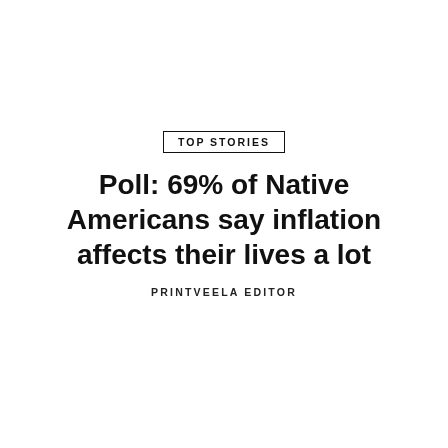TOP STORIES
Poll: 69% of Native Americans say inflation affects their lives a lot
PRINTVEELA EDITOR